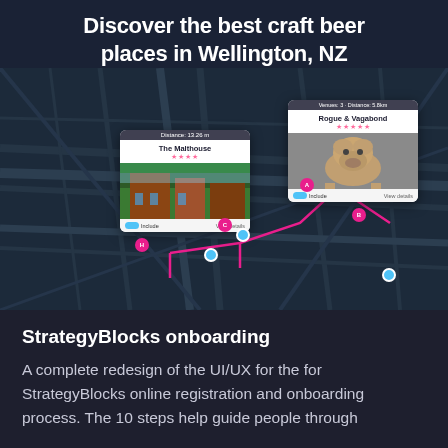Discover the best craft beer places in Wellington, NZ
[Figure (screenshot): A dark-themed map of Wellington, NZ showing a craft beer tour route with two venue popup cards. The left card shows 'The Malthouse' with 4-star rating and a building/outdoor photo. The right card shows 'Rogue & Vagabond' with 5-star rating and a bulldog photo. A pink/magenta route line connects waypoints labeled A, B, C, D, E, F on the map.]
StrategyBlocks onboarding
A complete redesign of the UI/UX for the for StrategyBlocks online registration and onboarding process. The 10 steps help guide people through